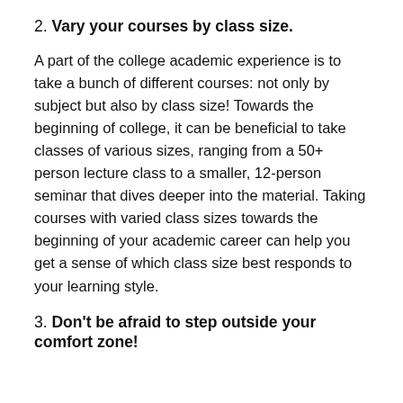2. Vary your courses by class size.
A part of the college academic experience is to take a bunch of different courses: not only by subject but also by class size! Towards the beginning of college, it can be beneficial to take classes of various sizes, ranging from a 50+ person lecture class to a smaller, 12-person seminar that dives deeper into the material. Taking courses with varied class sizes towards the beginning of your academic career can help you get a sense of which class size best responds to your learning style.
3. Don't be afraid to step outside your comfort zone!